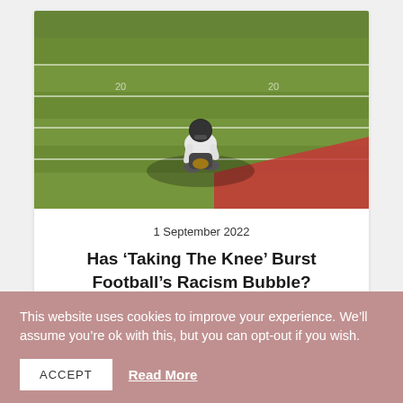[Figure (photo): Football player kneeling on a green football field, with white yard lines visible. Red end zone visible in lower right corner. Bright sunlight casting shadows.]
1 September 2022
Has ‘Taking The Knee’ Burst Football’s Racism Bubble?
[Figure (illustration): Small purple/magenta decorative avatar or blob icon]
This website uses cookies to improve your experience. We’ll assume you’re ok with this, but you can opt-out if you wish.
ACCEPT
Read More